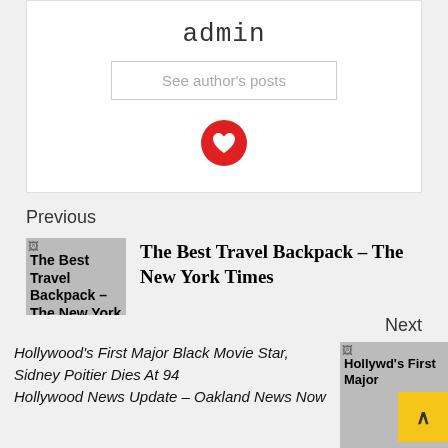admin
See author's posts
[Figure (other): Red circular social/share icon with heart symbol]
Previous
[Figure (photo): Broken image thumbnail for The Best Travel Backpack – The New York Times]
The Best Travel Backpack – The New York Times
Next
[Figure (photo): Broken image thumbnail for Hollywood's First Major Black Movie Star article]
Hollywood's First Major Black Movie Star, Sidney Poitier Dies At 94
Hollywood News Update – Oakland News Now